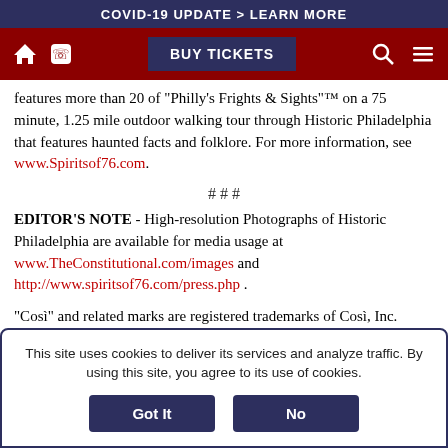COVID-19 UPDATE > LEARN MORE
[Figure (screenshot): Navigation bar with home icon, phone icon, BUY TICKETS button, search icon, and menu icon on dark red background]
features more than 20 of "Philly's Frights & Sights"™ on a 75 minute, 1.25 mile outdoor walking tour through Historic Philadelphia that features haunted facts and folklore. For more information, see www.Spiritsof76.com.
# # #
EDITOR'S NOTE - High-resolution Photographs of Historic Philadelphia are available for media usage at www.TheConstitutional.com/images and http://www.spiritsof76.com/press.php .
"Così" and related marks are registered trademarks of Così, Inc.
This site uses cookies to deliver its services and analyze traffic. By using this site, you agree to its use of cookies.